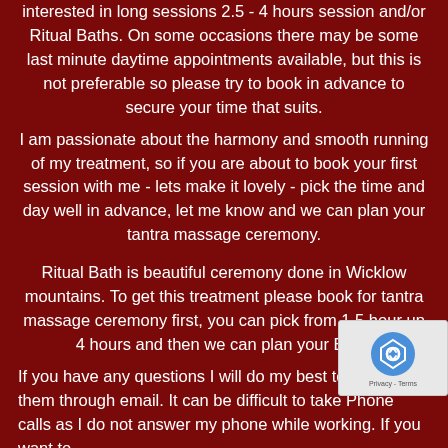interested in long sessions 2.5 - 4 hours session and/or Ritual Baths. On some occasions there may be some last minute daytime appointments available, but this is not preferable so please try to book in advance to secure your time that suits.
I am passionate about the harmony and smooth running of my treatment, so if you are about to book your first session with me - lets make it lovely - pick the time and day well in advance, let me know and we can plan your tantra massage ceremony.
Ritual Bath is beautiful ceremony done in Wicklow mountains. To get this treatment please book for tantra massage ceremony first, you can pick from 1.5 hour up 4 hours and then we can plan your Bath.
If you have any questions I will do my best to answer them through email. It can be difficult to take Phone calls as I do not answer my phone while working. If you want to...
[Figure (other): reCAPTCHA widget overlay in bottom-right corner showing the reCAPTCHA logo and Privacy - Terms text]